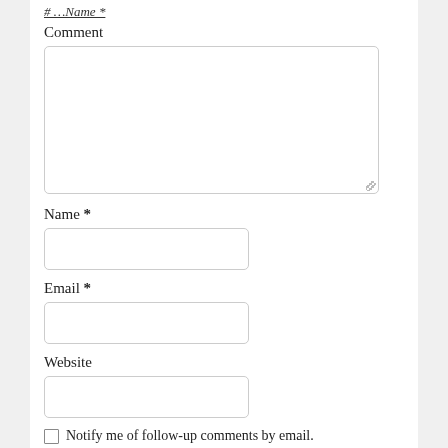# …Name *
Comment
[Figure (other): Large textarea input field for comment]
Name *
[Figure (other): Text input field for name]
Email *
[Figure (other): Text input field for email]
Website
[Figure (other): Text input field for website]
Notify me of follow-up comments by email.